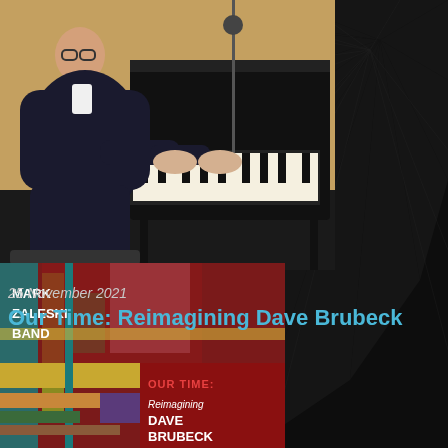[Figure (photo): Elderly man in dark suit playing a grand piano on a stage, side profile view, concert hall setting with warm lighting]
25 November 2021
Our Time: Reimagining Dave Brubeck
[Figure (photo): Album cover for 'Our Time: Reimagining Dave Brubeck' by Mark Zaleski Band. Cover features abstract geometric artwork in red, teal, yellow, green and pink color blocks. Text reads: MARK ZALESKI BAND, OUR TIME:, Reimagining DAVE BRUBECK]